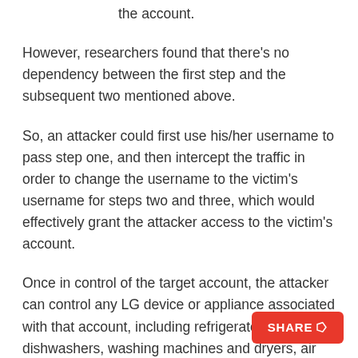the account.
However, researchers found that there's no dependency between the first step and the subsequent two mentioned above.
So, an attacker could first use his/her username to pass step one, and then intercept the traffic in order to change the username to the victim's username for steps two and three, which would effectively grant the attacker access to the victim's account.
Once in control of the target account, the attacker can control any LG device or appliance associated with that account, including refrigerators, ovens, dishwashers, washing machines and dryers, air conditioners, robot vacuum cleaners.